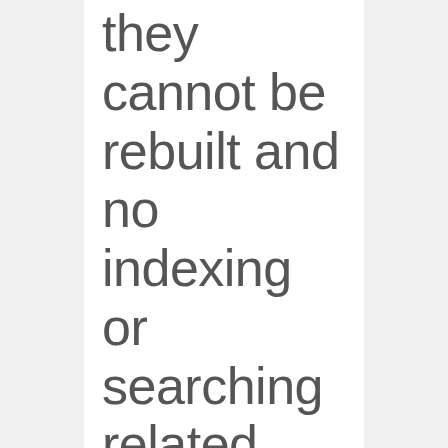they cannot be rebuilt and no indexing or searching related activity is working
Author: Luis Fernandes   2 years ago ·   Updated